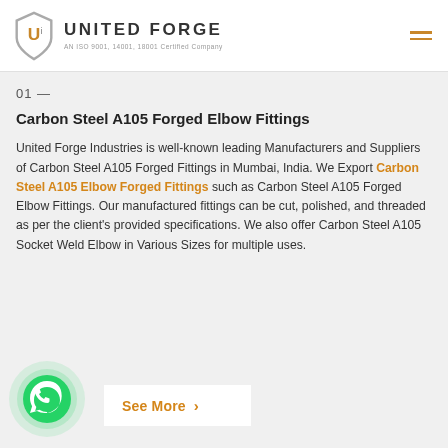UNITED FORGE — AN ISO 9001, 14001, 18001 Certified Company
01 —
Carbon Steel A105 Forged Elbow Fittings
United Forge Industries is well-known leading Manufacturers and Suppliers of Carbon Steel A105 Forged Fittings in Mumbai, India. We Export Carbon Steel A105 Elbow Forged Fittings such as Carbon Steel A105 Forged Elbow Fittings. Our manufactured fittings can be cut, polished, and threaded as per the client's provided specifications. We also offer Carbon Steel A105 Socket Weld Elbow in Various Sizes for multiple uses.
See More >